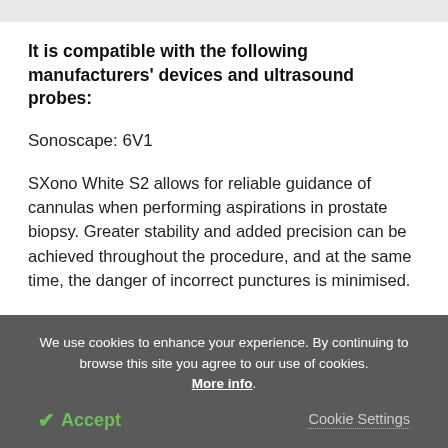It is compatible with the following manufacturers' devices and ultrasound probes:
Sonoscape: 6V1
SXono White S2 allows for reliable guidance of cannulas when performing aspirations in prostate biopsy. Greater stability and added precision can be achieved throughout the procedure, and at the same time, the danger of incorrect punctures is minimised.
We use cookies to enhance your experience. By continuing to browse this site you agree to our use of cookies. More info.
✔ Accept
Cookie Settings